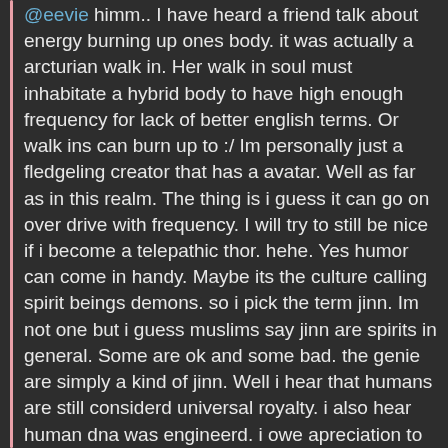@eevie himm.. I have heard a friend talk about energy burning up ones body. it was actually a arcturian walk in. Her walk in soul must inhabitate a hybrid body to have high enough frequency for lack of better english terms. Or walk ins can burn up to :/ Im personally just a fledgeling creator that has a avatar. Well as far as in this realm. The thing is i guess it can go on over drive with frequency. I will try to still be nice if i become a telepathic thor. hehe. Yes humor can come in handy. Maybe its the culture calling spirit beings demons. so i pick the term jinn. Im not one but i guess muslims say jinn are spirits in general. Some are ok and some bad. the genie are simply a kind of jinn. Well i hear that humans are still considerd universal royalty. i also hear human dna was engineerd. i owe apreciation to whoever created high vibe avatars. Alot of beings are here cuz of such dna engeneering .